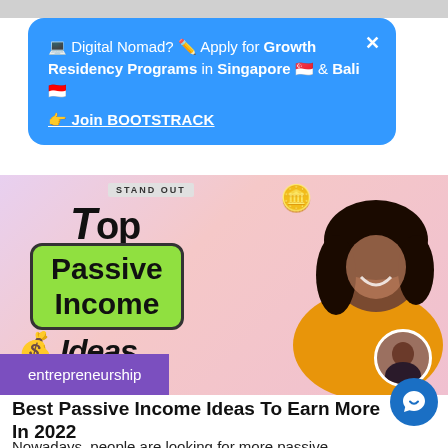💻 Digital Nomad? ✏️ Apply for Growth Residency Programs in Singapore 🇸🇬 & Bali 🇮🇩
👉 Join BOOTSTRACK
[Figure (photo): Thumbnail image for article about passive income ideas. Shows text 'Top Passive Income Ideas' with a woman in yellow sweater celebrating, on a pink/purple background. Includes 'entrepreneurship' tag and coin emojis.]
Best Passive Income Ideas To Earn More In 2022
Nowadays, people are looking for more passive